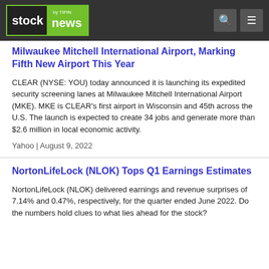stock news by TIFIN
Milwaukee Mitchell International Airport, Marking Fifth New Airport This Year
CLEAR (NYSE: YOU) today announced it is launching its expedited security screening lanes at Milwaukee Mitchell International Airport (MKE). MKE is CLEAR's first airport in Wisconsin and 45th across the U.S. The launch is expected to create 34 jobs and generate more than $2.6 million in local economic activity.
Yahoo | August 9, 2022
NortonLifeLock (NLOK) Tops Q1 Earnings Estimates
NortonLifeLock (NLOK) delivered earnings and revenue surprises of 7.14% and 0.47%, respectively, for the quarter ended June 2022. Do the numbers hold clues to what lies ahead for the stock?